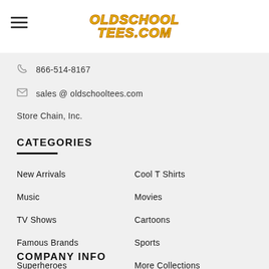[Figure (logo): OldSchoolTees.com logo in yellow bold italic text with orange stroke]
866-514-8167
sales@oldschooltees.com
Store Chain, Inc.
CATEGORIES
New Arrivals
Cool T Shirts
Music
Movies
TV Shows
Cartoons
Famous Brands
Sports
Superheroes
More Collections
COMPANY INFO